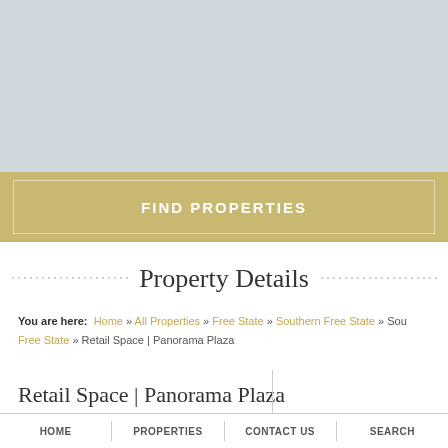[Figure (photo): Light blue-gray hero image area at top of page (partially visible property/map photo)]
FIND PROPERTIES
Property Details
You are here: Home » All Properties » Free State » Southern Free State » Southern Free State » Retail Space | Panorama Plaza
Retail Space | Panorama Plaza
R11,200.00 Per month
* Excludes parking
HOME   PROPERTIES   CONTACT US   SEARCH